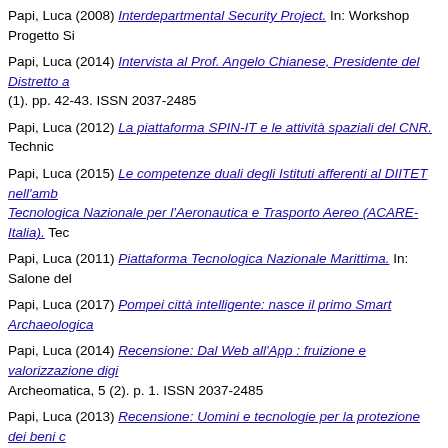Papi, Luca (2008) Interdepartmental Security Project. In: Workshop Progetto Si
Papi, Luca (2014) Intervista al Prof. Angelo Chianese, Presidente del Distretto a (1). pp. 42-43. ISSN 2037-2485
Papi, Luca (2012) La piattaforma SPIN-IT e le attività spaziali del CNR. Technic
Papi, Luca (2015) Le competenze duali degli Istituti afferenti al DIITET nell'amb Tecnologica Nazionale per l'Aeronautica e Trasporto Aereo (ACARE-Italia). Tec
Papi, Luca (2011) Piattaforma Tecnologica Nazionale Marittima. In: Salone del
Papi, Luca (2017) Pompei città intelligente: nasce il primo Smart Archaeologica
Papi, Luca (2014) Recensione: Dal Web all'App : fruizione e valorizzazione digi Archeomatica, 5 (2). p. 1. ISSN 2037-2485
Papi, Luca (2013) Recensione: Uomini e tecnologie per la protezione dei beni c
Papi, Luca (2010) Road Map Europea della Sicurezza. In: Simposio AFCEA - H dicembre 2010, Roma. (Unpublished)
Papi, Luca (2018) Sistemi tecnologici integrati per la gestione della sicurezza e delle aree terremotate. In: VIII Festa scienza e filosofia - L'Avventura dell'uomo: aprile 2018, Foligno. (Unpublished)
Papi, Luca (2018) Sistemi tecnologici integrati per la gestione della sicurezza e delle aree terremotate (Video). [Video]
Papi, Luca (2015) Smart city and cyber physical system: iniziative, tecnologie e (Unpublished)